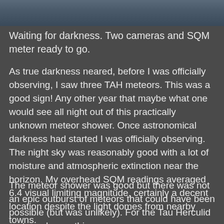[Figure (photo): Partial view of a photograph showing a person or equipment against a natural outdoor background, cropped at the top of the page]
Waiting for darkness. Two cameras and SQM meter ready to go.
As true darkness neared, before I was officially observing, I saw three TAH meteors. This was a good sign! Any other year that maybe what one would see all night out of this practically unknown meteor shower. Once astronomical darkness had started I was officially observing. The night sky was reasonably good with a lot of moisture and atmospheric extinction near the horizon. My overhead SQM readings averaged 6.4 visual limiting magnitude, certainly a decent location despite the light domes from nearby towns.
The meteor shower was good but there was not an epic outburst of meteors that could have been possible (but was unlikely). For the Tau Herculid meteor shower this